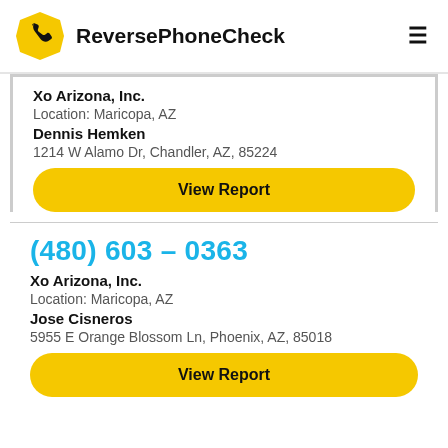ReversePhoneCheck
Xo Arizona, Inc.
Location: Maricopa, AZ
Dennis Hemken
1214 W Alamo Dr, Chandler, AZ, 85224
View Report
(480) 603 – 0363
Xo Arizona, Inc.
Location: Maricopa, AZ
Jose Cisneros
5955 E Orange Blossom Ln, Phoenix, AZ, 85018
View Report